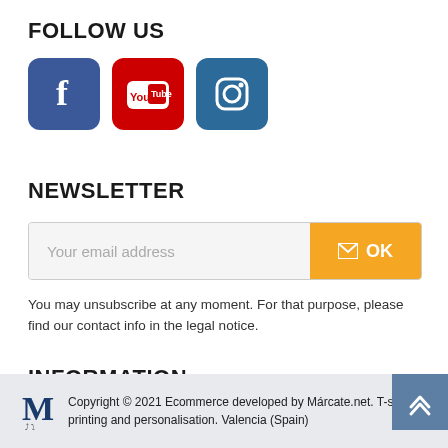FOLLOW US
[Figure (illustration): Three social media icons: Facebook (blue rounded square), YouTube (red rounded square), Instagram (blue rounded square)]
NEWSLETTER
[Figure (other): Email subscription form with input field showing placeholder 'Your email address' and an orange OK button with envelope icon]
You may unsubscribe at any moment. For that purpose, please find our contact info in the legal notice.
INFORMATION
Copyright © 2021 Ecommerce developed by Márcate.net. T-shirt printing and personalisation. Valencia (Spain)